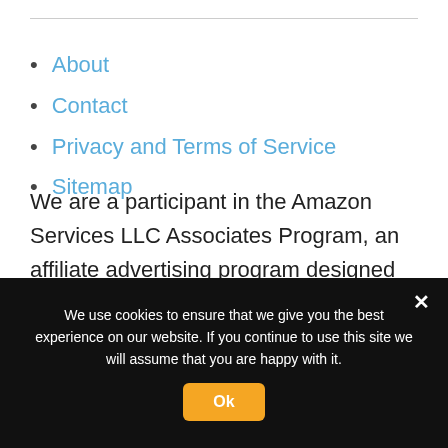About
Contact
Privacy and Terms of Service
Sitemap
We are a participant in the Amazon Services LLC Associates Program, an affiliate advertising program designed to provide a means for us to earn fees by linking to Amazon.com and affiliated sites.
We use cookies to ensure that we give you the best experience on our website. If you continue to use this site we will assume that you are happy with it.